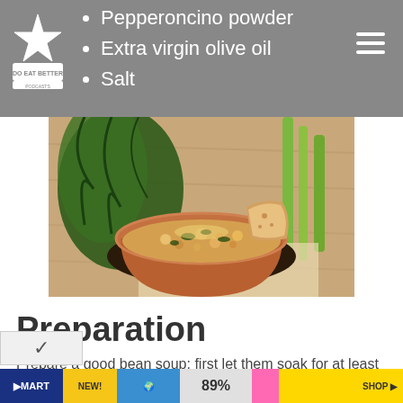Do Eat Better
Pepperoncino powder
Extra virgin olive oil
Salt
[Figure (photo): A clay bowl filled with bean and kale soup, garnished with herbs, served with a slice of bread. Dark leafy greens and celery in the background on a wooden table.]
Preparation
Prepare a good bean soup: first let them soak for at least 12 hours, then drain them and boil them in